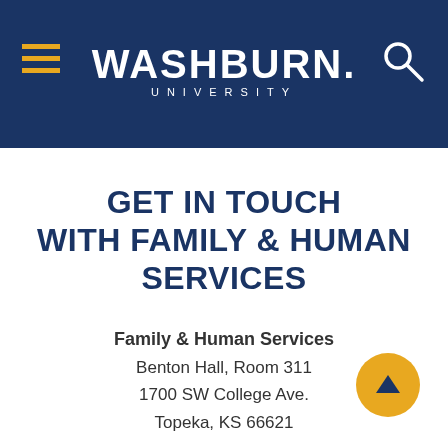[Figure (logo): Washburn University logo with hamburger menu and search icon on dark blue header background]
GET IN TOUCH WITH FAMILY & HUMAN SERVICES
Family & Human Services
Benton Hall, Room 311
1700 SW College Ave.
Topeka, KS 66621